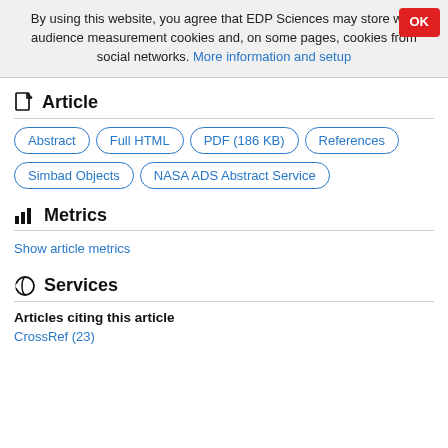By using this website, you agree that EDP Sciences may store web audience measurement cookies and, on some pages, cookies from social networks. More information and setup
Article
Abstract | Full HTML | PDF (186 KB) | References | Simbad Objects | NASA ADS Abstract Service
Metrics
Show article metrics
Services
Articles citing this article
CrossRef (23)